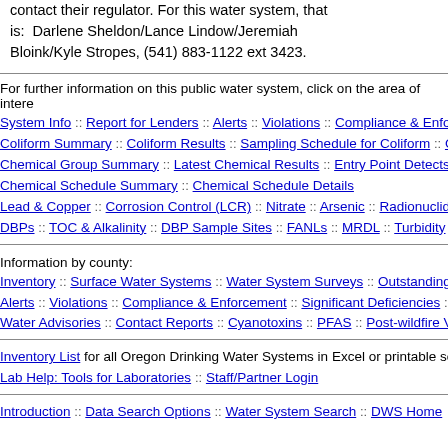contact their regulator. For this water system, that is: Darlene Sheldon/Lance Lindow/Jeremiah Bloink/Kyle Stropes, (541) 883-1122 ext 3423.
For further information on this public water system, click on the area of interest:
System Info :: Report for Lenders :: Alerts :: Violations :: Compliance & Enforcement :: Coliform Summary :: Coliform Results :: Sampling Schedule for Coliform :: Chemical Group Summary :: Latest Chemical Results :: Entry Point Detects :: Chemical Schedule Summary :: Chemical Schedule Details :: Lead & Copper :: Corrosion Control (LCR) :: Nitrate :: Arsenic :: Radionuclides :: DBPs :: TOC & Alkalinity :: DBP Sample Sites :: FANLs :: MRDL :: Turbidity ::
Information by county:
Inventory :: Surface Water Systems :: Water System Surveys :: Outstanding Issues :: Alerts :: Violations :: Compliance & Enforcement :: Significant Deficiencies :: Water Advisories :: Contact Reports :: Cyanotoxins :: PFAS :: Post-wildfire Violations
Inventory List for all Oregon Drinking Water Systems in Excel or printable screen
Lab Help: Tools for Laboratories :: Staff/Partner Login
Introduction :: Data Search Options :: Water System Search :: DWS Home